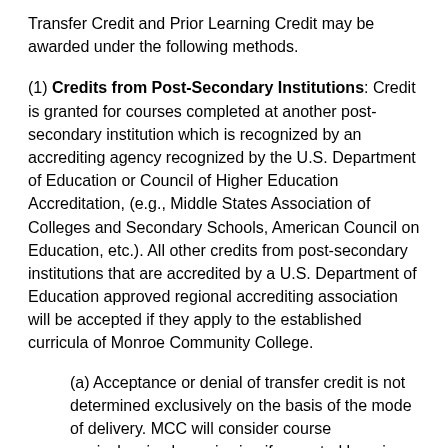Transfer Credit and Prior Learning Credit may be awarded under the following methods.
(1) Credits from Post-Secondary Institutions: Credit is granted for courses completed at another post-secondary institution which is recognized by an accrediting agency recognized by the U.S. Department of Education or Council of Higher Education Accreditation, (e.g., Middle States Association of Colleges and Secondary Schools, American Council on Education, etc.). All other credits from post-secondary institutions that are accredited by a U.S. Department of Education approved regional accrediting association will be accepted if they apply to the established curricula of Monroe Community College.
(a) Acceptance or denial of transfer credit is not determined exclusively on the basis of the mode of delivery. MCC will consider course equivalencies by reviewing if expected learning outcomes are substantially equivalent to MCC's curricula and